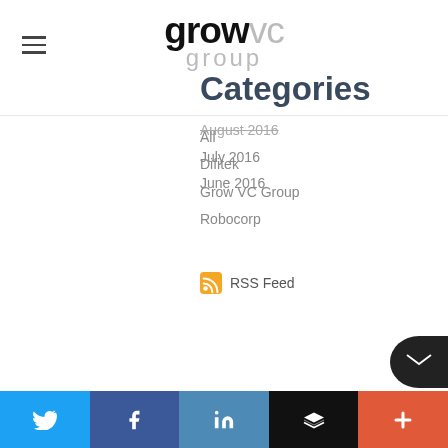[Figure (logo): Grow VC Group logo — 'grow' in bold black, 'vc' in light grey, 'group' in light grey below]
August 2016
July 2016
June 2016
Categories
All
Difitek
Grow VC Group
Robocorp
RSS Feed
Twitter | Facebook | LinkedIn | Buffer | Plus social share bar